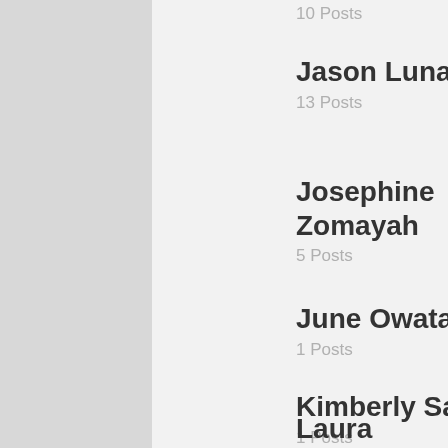10 Posts
Jason Luna
13 Posts
Josephine Zomayah
5 Posts
June Owatari
1 Posts
Kimberly Sass
1 Posts
Laura